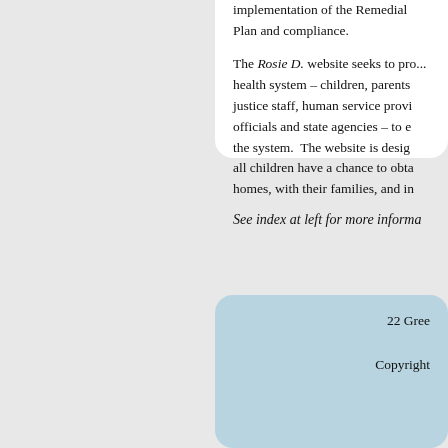implementation of the Remedial Plan and compliance.
The Rosie D. website seeks to provide all stakeholders in the children's behavioral health system – children, parents and families, juvenile justice staff, human service providers, educational officials and state agencies – to engage and improve the system. The website is designed to ensure that all children have a chance to obtain services in their homes, with their families, and in their communities.
See index at left for more informa
22 Gree
Copyright